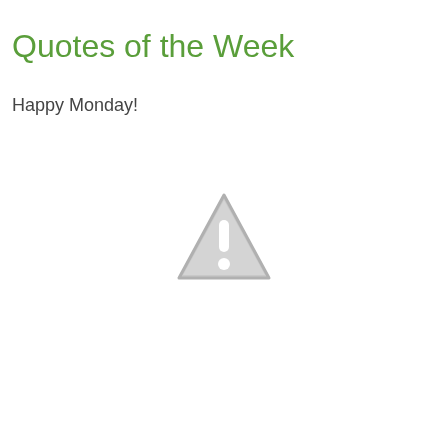Quotes of the Week
Happy Monday!
[Figure (illustration): A light gray warning triangle icon with an exclamation mark inside, centered on the page]